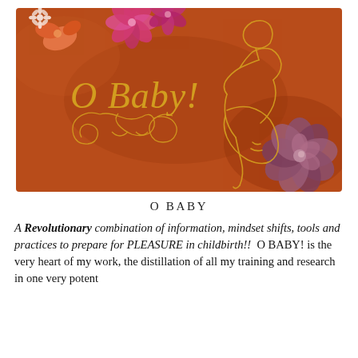[Figure (illustration): Warm terracotta/burnt orange background with floral watercolor elements (pink, peach, purple flowers) in corners, a gold line-art silhouette of a pregnant woman in profile on the right, and decorative gold ornamental scrollwork below the main text. Bold gold italic serif text reads 'O Baby!' centered-left.]
O BABY
A Revolutionary combination of information, mindset shifts, tools and practices to prepare for PLEASURE in childbirth!!  O BABY! is the very heart of my work, the distillation of all my training and research in one very potent